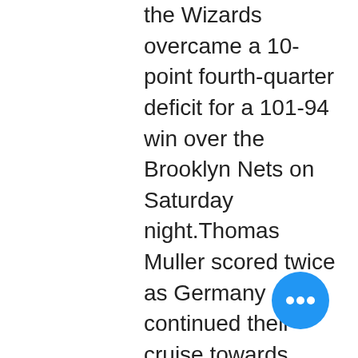the Wizards overcame a 10-point fourth-quarter deficit for a 101-94 win over the Brooklyn Nets on Saturday night.Thomas Muller scored twice as Germany continued their cruise towards another World Cup finals with a second consecutive 3-0 victory in qualifying Group C on Saturday. Joachim Lows side followed up their opening triumph in Norway with an identical result against the Czech Republic in Hamburg and the result could easily have been more emphatic.Muller fired a low opener past Czech keeper Tomas Vaclik in the 13th minute and, after Toni Kroos added a second, Muller completed the scoring with his second midway through the second half. Robert Lewandowski scores from the penalty spot against Denmark Also in Group C, Northern Ireland were made to sweat before recording a 4 over 10-man San Marino in Belfast.Azerbaijan maintained their
[Figure (other): Blue circular floating action button with three white dots (ellipsis menu)]